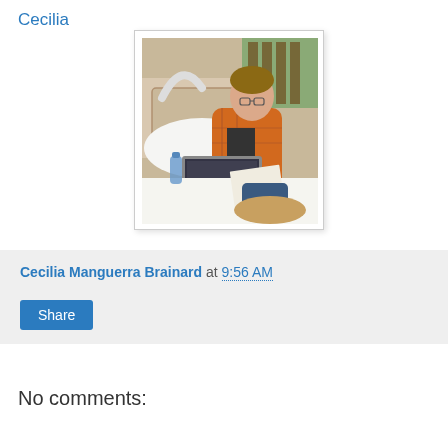Cecilia
[Figure (photo): Woman sitting on a bed or couch working on a laptop, wearing an orange plaid shirt, with a window behind her showing wooden blinds. Items on the table include a bottle and papers.]
Cecilia Manguerra Brainard at 9:56 AM
Share
No comments: